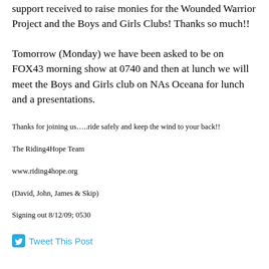support received to raise monies for the Wounded Warrior Project and the Boys and Girls Clubs! Thanks so much!!
Tomorrow (Monday) we have been asked to be on FOX43 morning show at 0740 and then at lunch we will meet the Boys and Girls club on NAs Oceana for lunch and a presentations.
Thanks for joining us…..ride safely and keep the wind to your back!!
The Riding4Hope Team
www.riding4hope.org
(David, John, James & Skip)
Signing out 8/12/09; 0530
Tweet This Post